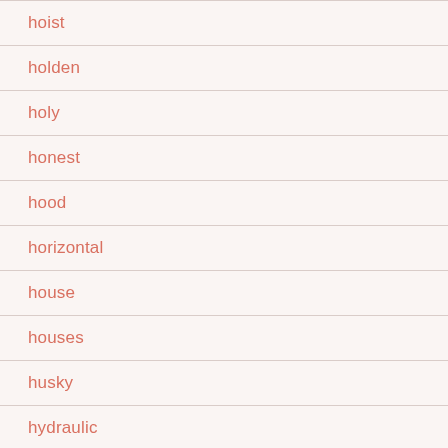hoist
holden
holy
honest
hood
horizontal
house
houses
husky
hydraulic
idealhouse